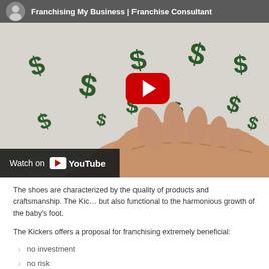[Figure (screenshot): YouTube video thumbnail showing a hand with green dollar signs falling on it, titled 'Franchising My Business | Franchise Consultant' with a red play button and 'Watch on YouTube' bar at the bottom.]
The shoes are characterized by the quality of products and craftsmanship. The Kickers shoes are not only stylish but also functional to the harmonious growth of the baby's foot.
The Kickers offers a proposal for franchising extremely beneficial:
no investment
no risk